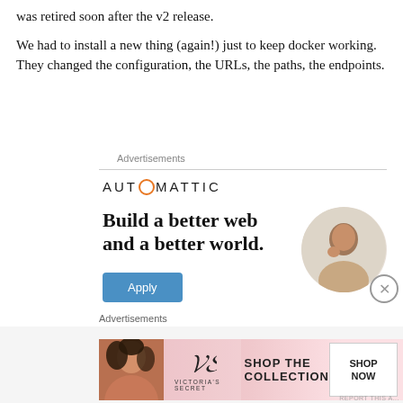was retired soon after the v2 release.
We had to install a new thing (again!) just to keep docker working. They changed the configuration, the URLs, the paths, the endpoints.
Advertisements
[Figure (other): Automattic advertisement: logo with orange O, tagline 'Build a better web and a better world.', blue Apply button, circular photo of a man thinking]
Advertisements
[Figure (other): Victoria's Secret banner ad: woman with curly hair, VS monogram logo, 'SHOP THE COLLECTION' text, white 'SHOP NOW' button on pink gradient background]